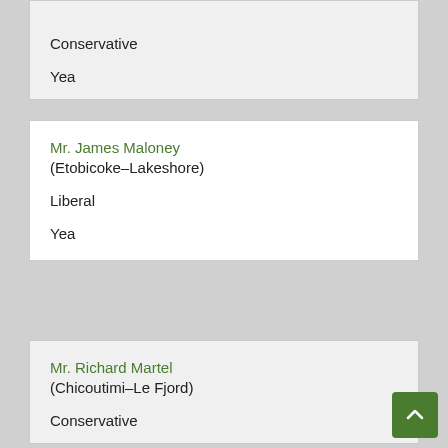Conservative
Yea
Mr. James Maloney
(Etobicoke–Lakeshore)
Liberal
Yea
Mr. Richard Martel
(Chicoutimi–Le Fjord)
Conservative